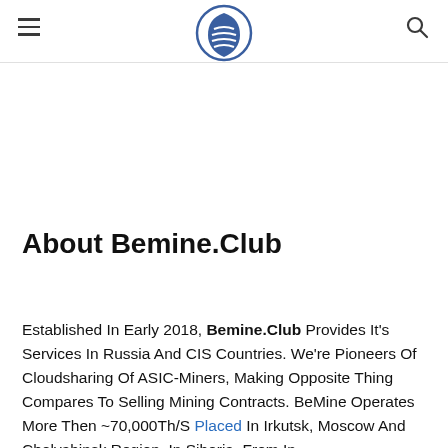[Bemine.Club logo and navigation]
About Bemine.Club
Established In Early 2018, Bemine.Club Provides It's Services In Russia And CIS Countries. We're Pioneers Of Cloudsharing Of ASIC-Miners, Making Opposite Thing Compares To Selling Mining Contracts. BeMine Operates More Then ~70,000Th/S Placed In Irkutsk, Moscow And Chelyabinsk Region. In Siberia. From In